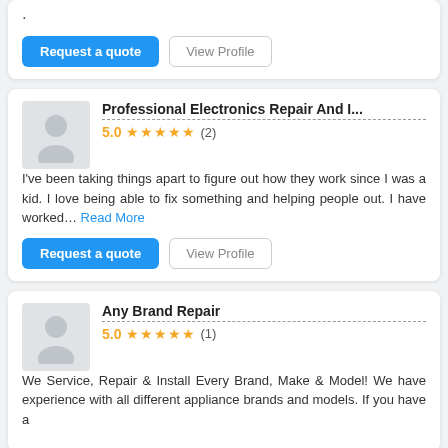[Figure (screenshot): Partial top card with Request a quote and View Profile buttons]
Professional Electronics Repair And I...
5.0 ★★★★★ (2)
I've been taking things apart to figure out how they work since I was a kid. I love being able to fix something and helping people out. I have worked... Read More
Any Brand Repair
5.0 ★★★★★ (1)
We Service, Repair & Install Every Brand, Make & Model! We have experience with all different appliance brands and models. If you have a